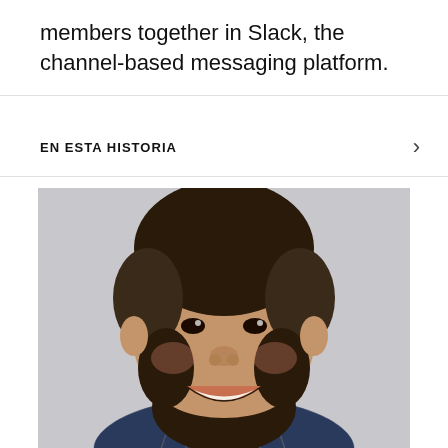members together in Slack, the channel-based messaging platform.
EN ESTA HISTORIA
[Figure (photo): Headshot of a smiling man with short dark hair and a beard, wearing a dark blue plaid shirt, photographed against a light gray background.]